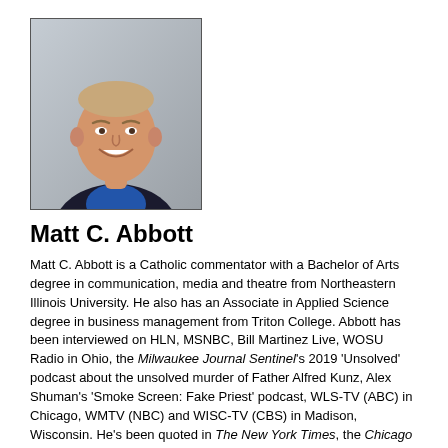[Figure (photo): Headshot photo of Matt C. Abbott, a man with short light hair, smiling, wearing a blue shirt and dark jacket, against a gray background.]
Matt C. Abbott
Matt C. Abbott is a Catholic commentator with a Bachelor of Arts degree in communication, media and theatre from Northeastern Illinois University. He also has an Associate in Applied Science degree in business management from Triton College. Abbott has been interviewed on HLN, MSNBC, Bill Martinez Live, WOSU Radio in Ohio, the Milwaukee Journal Sentinel's 2019 'Unsolved' podcast about the unsolved murder of Father Alfred Kunz, Alex Shuman's 'Smoke Screen: Fake Priest' podcast, WLS-TV (ABC) in Chicago, WMTV (NBC) and WISC-TV (CBS) in Madison, Wisconsin. He's been quoted in The New York Times, the Chicago Tribune and other media outlets. He's mentioned in the 2020 Report on the Holy See's Institutional Knowledge and Decision-Making Related to Former Cardinal Theodore Edgar McCarrick (1930 to 2017), which can be found on the Vatican's website. He can be reached at mattcabbott@gmail.com.